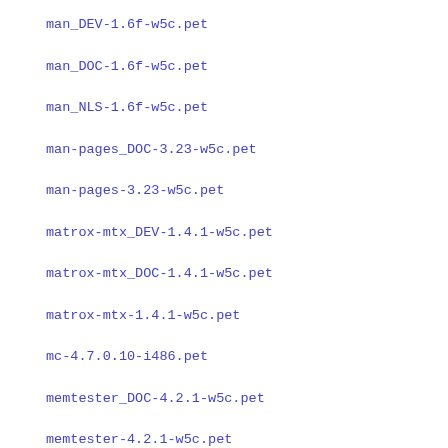man_DEV-1.6f-w5c.pet
man_DOC-1.6f-w5c.pet
man_NLS-1.6f-w5c.pet
man-pages_DOC-3.23-w5c.pet
man-pages-3.23-w5c.pet
matrox-mtx_DEV-1.4.1-w5c.pet
matrox-mtx_DOC-1.4.1-w5c.pet
matrox-mtx-1.4.1-w5c.pet
mc-4.7.0.10-i486.pet
memtester_DOC-4.2.1-w5c.pet
memtester-4.2.1-w5c.pet